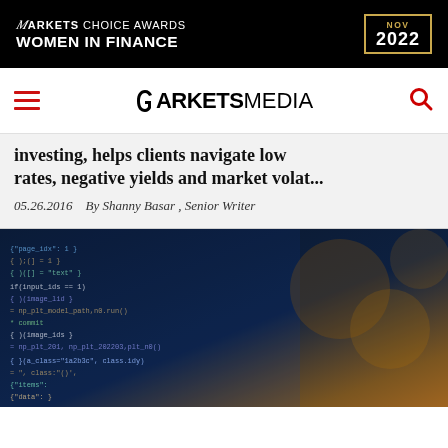[Figure (logo): Markets Choice Awards Women in Finance NOV 2022 banner advertisement on black background]
MARKETS MEDIA
investing, helps clients navigate low rates, negative yields and market volat...
05.26.2016   By Shanny Basar , Senior Writer
[Figure (photo): Close-up photo of a laptop screen showing lines of code in a dark environment]